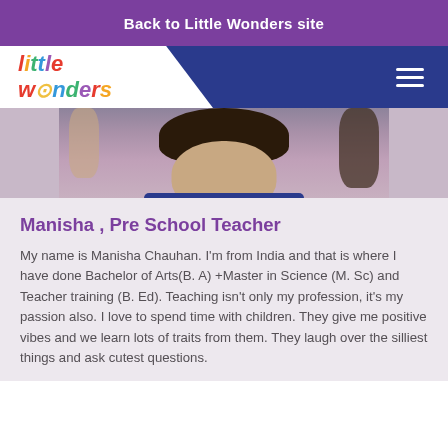Back to Little Wonders site
[Figure (logo): Little Wonders colorful logo with multicolored italic text]
[Figure (photo): Partial photo of a person (Manisha), showing face and upper body, cropped at top]
Manisha , Pre School Teacher
My name is Manisha Chauhan. I'm from India and that is where I have done Bachelor of Arts(B. A) +Master in Science (M. Sc) and Teacher training (B. Ed). Teaching isn't only my profession, it's my passion also. I love to spend time with children. They give me positive vibes and we learn lots of traits from them. They laugh over the silliest things and ask cutest questions.